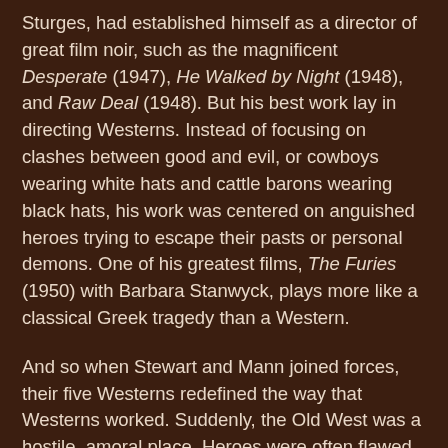Sturges, had established himself as a director of great film noir, such as the magnificent Desperate (1947), He Walked by Night (1948), and Raw Deal (1948). But his best work lay in directing Westerns. Instead of focusing on clashes between good and evil, or cowboys wearing white hats and cattle barons wearing black hats, his work was centered on anguished heroes trying to escape their pasts or personal demons. One of his greatest films, The Furies (1950) with Barbara Stanwyck, plays more like a classical Greek tragedy than a Western.
And so when Stewart and Mann joined forces, their five Westerns redefined the way that Westerns worked. Suddenly, the Old West was a hostile, amoral place. Heroes were often flawed and morally ambiguous, driven to extreme (and frequently violent) ends in order to avenge wrongs done to them. In their first collaboration, Winchester '73 (1950), Stewart pursued a group of outlaws who had stolen a Winchester rifle that he had won in a contest. His almost suicidal obsession for revenge was only matched by the rifle itself, which seems to be cursed, as its every holder would meet an untimely end.